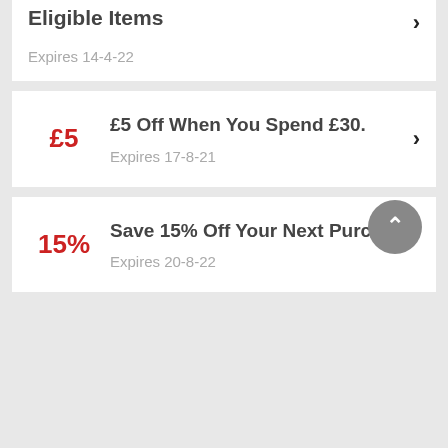Eligible Items
Expires 14-4-22
£5 Off When You Spend £30.
Expires 17-8-21
Save 15% Off Your Next Purchase
Expires 20-8-22